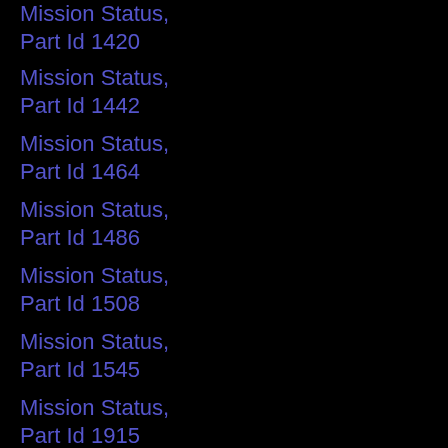Mission Status, Part Id 1420
Mission Status, Part Id 1442
Mission Status, Part Id 1464
Mission Status, Part Id 1486
Mission Status, Part Id 1508
Mission Status, Part Id 1545
Mission Status, Part Id 1915
Mission Status, Part Id 1916
Mission Status, Part Id 1973
Mission Status, Part Id 2399
Mission Status, Part Id 871
Mission Status, Part Id 876
Mission Status, Part Id 882